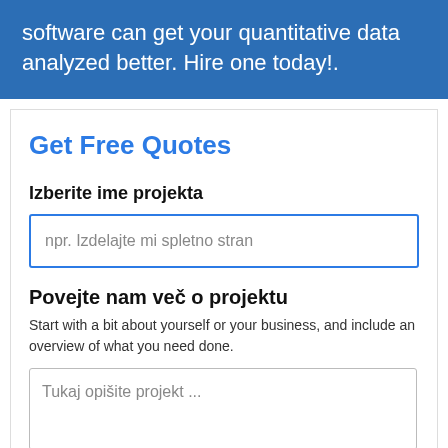software can get your quantitative data analyzed better. Hire one today!.
Get Free Quotes
Izberite ime projekta
npr. Izdelajte mi spletno stran
Povejte nam več o projektu
Start with a bit about yourself or your business, and include an overview of what you need done.
Tukaj opišite projekt ...